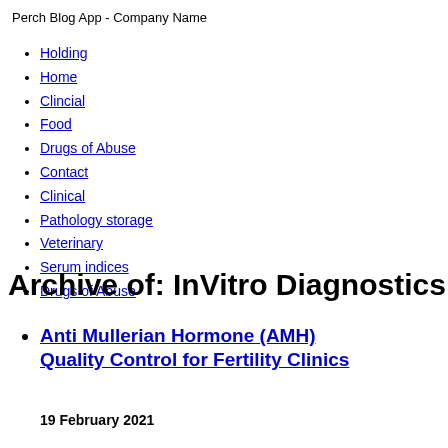Perch Blog App - Company Name
Holding
Home
Clincial
Food
Drugs of Abuse
Contact
Clinical
Pathology storage
Veterinary
Serum indices
Drugs of Abuse
Archive of: InVitro Diagnostics
Anti Mullerian Hormone (AMH) Quality Control for Fertility Clinics
19 February 2021